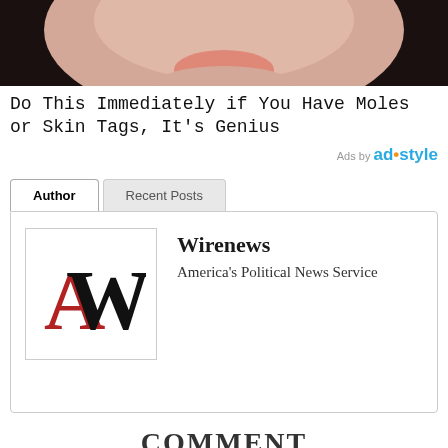[Figure (photo): Close-up photo of a person's lower face and chin area, with dark hair visible, suggesting a health/beauty advertisement.]
Do This Immediately if You Have Moles or Skin Tags, It's Genius
Ads by ad·style
Author | Recent Posts
[Figure (logo): Wirenews logo with a large black W and red A letters.]
Wirenews
America's Political News Service
COMMENT